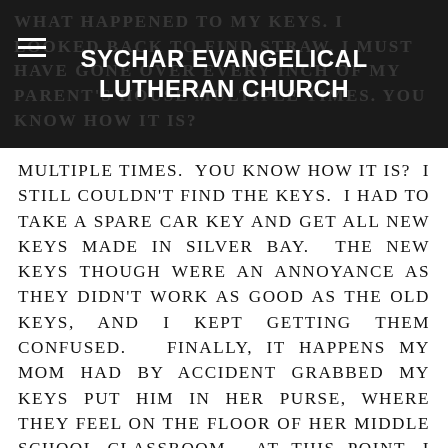SYCHAR EVANGELICAL LUTHERAN CHURCH
MULTIPLE TIMES. YOU KNOW HOW IT IS? I STILL COULDN'T FIND THE KEYS. I HAD TO TAKE A SPARE CAR KEY AND GET ALL NEW KEYS MADE IN SILVER BAY. THE NEW KEYS THOUGH WERE AN ANNOYANCE AS THEY DIDN'T WORK AS GOOD AS THE OLD KEYS, AND I KEPT GETTING THEM CONFUSED. FINALLY, IT HAPPENS MY MOM HAD BY ACCIDENT GRABBED MY KEYS PUT HIM IN HER PURSE, WHERE THEY FEEL ON THE FLOOR OF HER MIDDLE SCHOOL CLASSROOM. AT THIS POINT, I DIDN'T CARE ABOUT HOW THE KEYS BECAME LOST IN THE FIRST PLACE. WHEN THE LOST BECOMES FOUND, YOU ACT WITHOUT ABANDON. I MADE SURE THE KEYS GOT SENT TO ME AS SOON AS POSSIBLE. NOW THINK IF KEYS OR